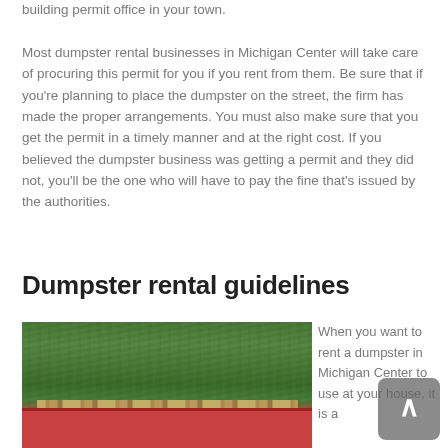building permit office in your town.
Most dumpster rental businesses in Michigan Center will take care of procuring this permit for you if you rent from them. Be sure that if you're planning to place the dumpster on the street, the firm has made the proper arrangements. You must also make sure that you get the permit in a timely manner and at the right cost. If you believed the dumpster business was getting a permit and they did not, you'll be the one who will have to pay the fine that's issued by the authorities.
Dumpster rental guidelines
[Figure (photo): Red dumpster filled with debris in front of green trees]
When you want to rent a dumpster in Michigan Center to use at your house, it is a